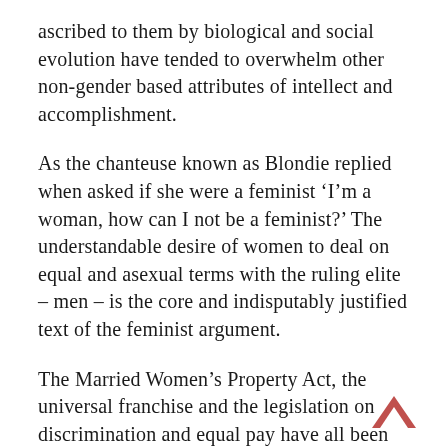ascribed to them by biological and social evolution have tended to overwhelm other non-gender based attributes of intellect and accomplishment.
As the chanteuse known as Blondie replied when asked if she were a feminist ‘I’m a woman, how can I not be a feminist?’ The understandable desire of women to deal on equal and asexual terms with the ruling elite – men – is the core and indisputably justified text of the feminist argument.
The Married Women’s Property Act, the universal franchise and the legislation on discrimination and equal pay have all been ground-levelling and near revolutionary enactments for women – though two world wars